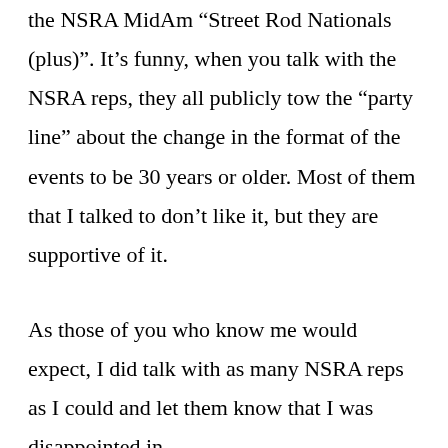the NSRA MidAm “Street Rod Nationals (plus)”. It’s funny, when you talk with the NSRA reps, they all publicly tow the “party line” about the change in the format of the events to be 30 years or older. Most of them that I talked to don’t like it, but they are supportive of it.
As those of you who know me would expect, I did talk with as many NSRA reps as I could and let them know that I was disappointed in